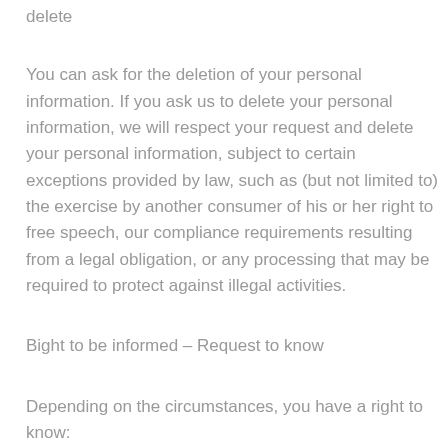delete
You can ask for the deletion of your personal information. If you ask us to delete your personal information, we will respect your request and delete your personal information, subject to certain exceptions provided by law, such as (but not limited to) the exercise by another consumer of his or her right to free speech, our compliance requirements resulting from a legal obligation, or any processing that may be required to protect against illegal activities.
Bight to be informed – Request to know
Depending on the circumstances, you have a right to know: